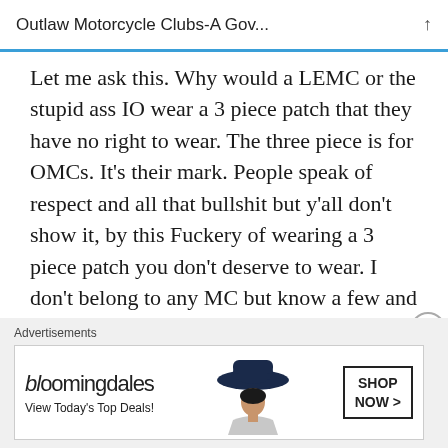Outlaw Motorcycle Clubs-A Gov...
Let me ask this. Why would a LEMC or the stupid ass IO wear a 3 piece patch that they have no right to wear. The three piece is for OMCs. It’s their mark. People speak of respect and all that bullshit but y’all don’t show it, by this Fuckery of wearing a 3 piece patch you don’t deserve to wear. I don’t belong to any MC but know a few and have been around it. So ya this artical is spot on. Find a different patch set.
Advertisements
[Figure (screenshot): Bloomingdale's advertisement banner with logo, 'View Today's Top Deals!' text, image of woman wearing a large hat, and a 'SHOP NOW >' button.]